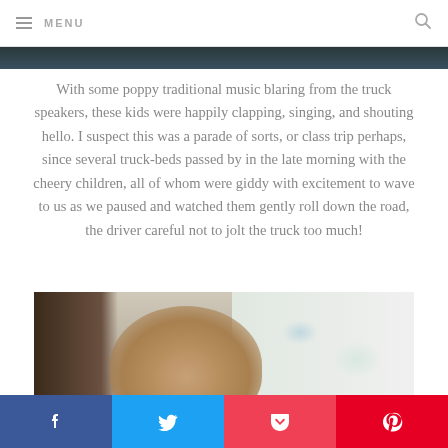MENU
[Figure (photo): Top portion of a photo showing children in a truck bed, partially visible at top of page]
With some poppy traditional music blaring from the truck speakers, these kids were happily clapping, singing, and shouting hello. I suspect this was a parade of sorts, or class trip perhaps, since several truck-beds passed by in the late morning with the cheery children, all of whom were giddy with excitement to wave to us as we paused and watched them gently roll down the road, the driver careful not to jolt the truck too much!
[Figure (photo): Close-up photo of a young Asian girl with hair clips, looking at the camera, outdoor setting with white tent/umbrella and street scene in background]
Social sharing buttons: Facebook, Twitter, Pocket, Pinterest